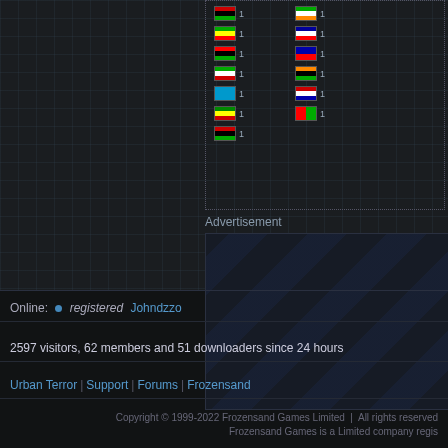[Figure (other): Partial view of country flags with count of 1 each, in a dotted-border grid area]
Advertisement
[Figure (other): Advertisement placeholder box with diagonal stripe pattern]
Online: • registered Johndzzo
2597 visitors, 62 members and 51 downloaders since 24 hours
Urban Terror | Support | Forums | Frozensand
Copyright © 1999-2022 Frozensand Games Limited  |  All rights reserved
Frozensand Games is a Limited company regis